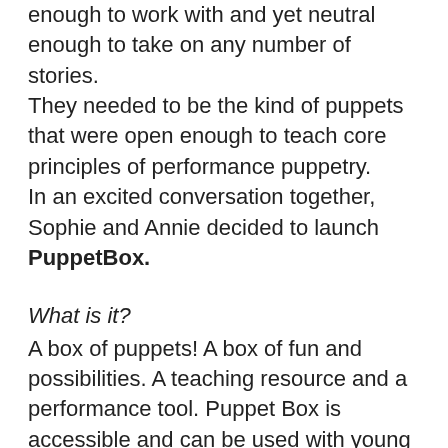enough to work with and yet neutral enough to take on any number of stories. They needed to be the kind of puppets that were open enough to teach core principles of performance puppetry. In an excited conversation together, Sophie and Annie decided to launch PuppetBox.
What is it?
A box of puppets! A box of fun and possibilities. A teaching resource and a performance tool. Puppet Box is accessible and can be used with young children and adults alike. It can be used for educators at all levels